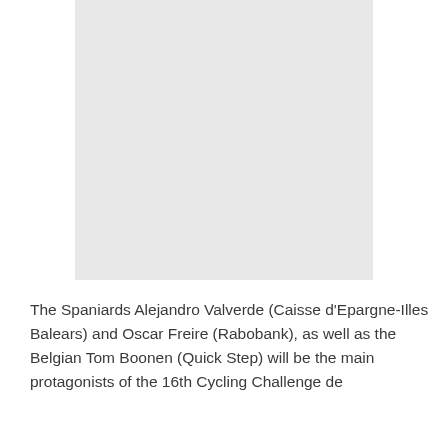[Figure (photo): A photograph placeholder shown as a light gray rectangle]
The Spaniards Alejandro Valverde (Caisse d'Epargne-Illes Balears) and Oscar Freire (Rabobank), as well as the Belgian Tom Boonen (Quick Step) will be the main protagonists of the 16th Cycling Challenge de